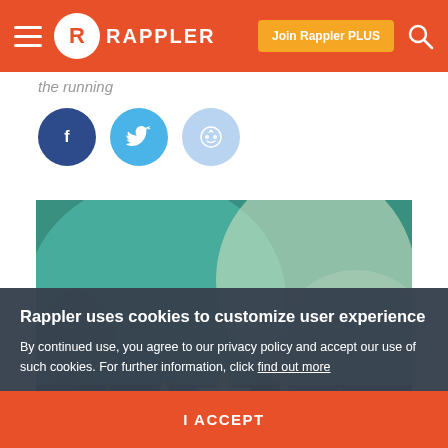Rappler
the running
[Figure (screenshot): Social sharing buttons: Facebook (dark blue), Twitter (light blue), Reddit (pale blue)]
[Figure (photo): Green abstract background with golden star/crown decoration at bottom]
Rappler uses cookies to customize user experience
By continued use, you agree to our privacy policy and accept our use of such cookies. For further information, click find out more
I ACCEPT